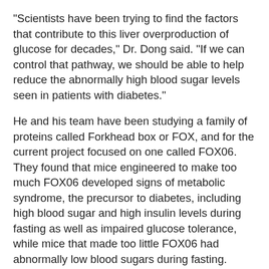"Scientists have been trying to find the factors that contribute to this liver overproduction of glucose for decades," Dr. Dong said. "If we can control that pathway, we should be able to help reduce the abnormally high blood sugar levels seen in patients with diabetes."
He and his team have been studying a family of proteins called Forkhead box or FOX, and for the current project focused on one called FOX06. They found that mice engineered to make too much FOX06 developed signs of metabolic syndrome, the precursor to diabetes, including high blood sugar and high insulin levels during fasting as well as impaired glucose tolerance, while mice that made too little FOX06 had abnormally low blood sugars during fasting.
"In a normal animal, a glucose injection causes blood sugar level to rise initially and then it goes back to normal range within two hours," Dr. Dong said. "In animals that made too much FOX06, blood sugar after a glucose injection doesn't normalize within two hours. They have lost the ability to regulate the level while the